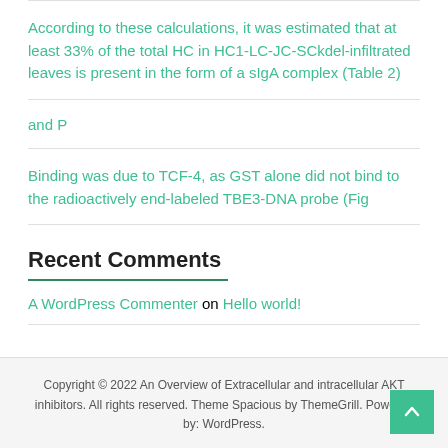According to these calculations, it was estimated that at least 33% of the total HC in HC1-LC-JC-SCkdel-infiltrated leaves is present in the form of a sIgA complex (Table 2)
and P
Binding was due to TCF-4, as GST alone did not bind to the radioactively end-labeled TBE3-DNA probe (Fig
Recent Comments
A WordPress Commenter on Hello world!
Copyright © 2022 An Overview of Extracellular and intracellular AKT inhibitors. All rights reserved. Theme Spacious by ThemeGrill. Powered by: WordPress.